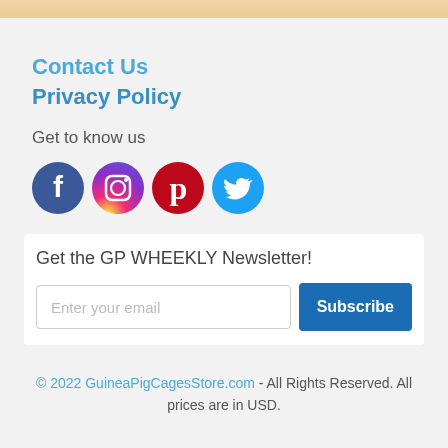Contact Us
Privacy Policy
Get to know us
[Figure (illustration): Social media icons: Facebook (dark blue circle with white f), Instagram (pink/red gradient circle with white camera icon), Pinterest (dark red circle with white P), Twitter (light blue circle with white bird)]
Get the GP WHEEKLY Newsletter!
Enter your email
Subscribe
© 2022 GuineaPigCagesStore.com - All Rights Reserved. All prices are in USD.